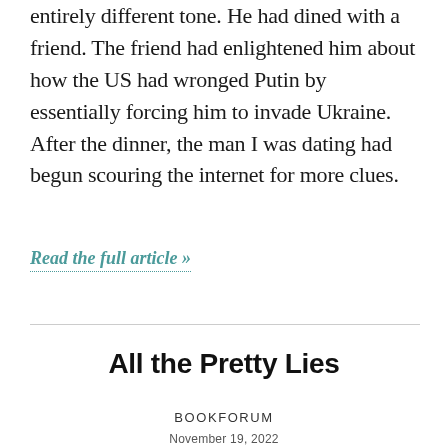entirely different tone. He had dined with a friend. The friend had enlightened him about how the US had wronged Putin by essentially forcing him to invade Ukraine. After the dinner, the man I was dating had begun scouring the internet for more clues.
Read the full article »
All the Pretty Lies
BOOKFORUM
November 19, 2022